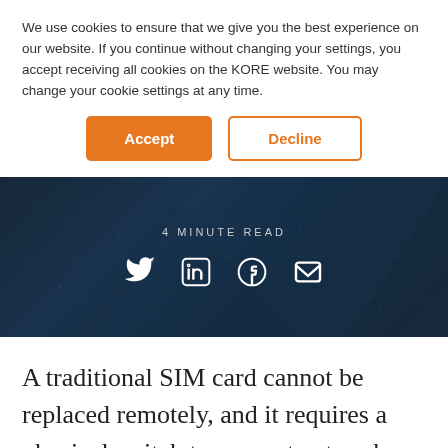We use cookies to ensure that we give you the best experience on our website. If you continue without changing your settings, you accept receiving all cookies on the KORE website. You may change your cookie settings at any time.
Accept | Decline
[Figure (photo): Dark blue technology/electronics background image with overlaid social sharing icons (Twitter, LinkedIn, Facebook, Email) and text '4 MINUTE READ']
A traditional SIM card cannot be replaced remotely, and it requires a physical switch to convert network carriers. Essentially – every device that needs to connect to a separate